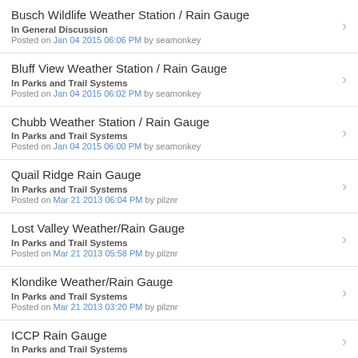Busch Wildlife Weather Station / Rain Gauge
In General Discussion
Posted on Jan 04 2015 06:06 PM by seamonkey
Bluff View Weather Station / Rain Gauge
In Parks and Trail Systems
Posted on Jan 04 2015 06:02 PM by seamonkey
Chubb Weather Station / Rain Gauge
In Parks and Trail Systems
Posted on Jan 04 2015 06:00 PM by seamonkey
Quail Ridge Rain Gauge
In Parks and Trail Systems
Posted on Mar 21 2013 06:04 PM by pilznr
Lost Valley Weather/Rain Gauge
In Parks and Trail Systems
Posted on Mar 21 2013 05:58 PM by pilznr
Klondike Weather/Rain Gauge
In Parks and Trail Systems
Posted on Mar 21 2013 03:20 PM by pilznr
ICCP Rain Gauge
In Parks and Trail Systems